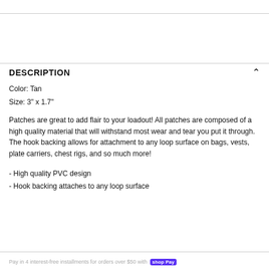DESCRIPTION
Color: Tan
Size: 3" x 1.7"
Patches are great to add flair to your loadout! All patches are composed of a high quality material that will withstand most wear and tear you put it through. The hook backing allows for attachment to any loop surface on bags, vests, plate carriers, chest rigs, and so much more!
- High quality PVC design
- Hook backing attaches to any loop surface
Pay in 4 interest-free installments for orders over $50 with shopPay